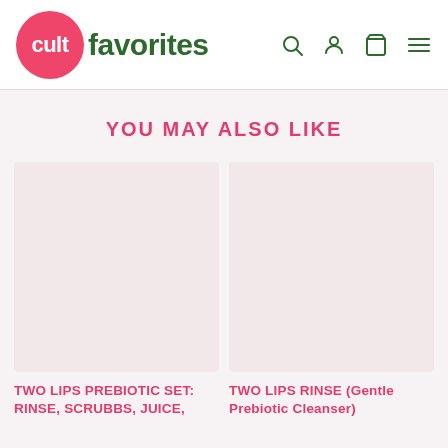cult favorites
YOU MAY ALSO LIKE
[Figure (photo): Product image placeholder for TWO LIPS PREBIOTIC SET: RINSE, SCRUBBS, JUICE — pink/mauve background]
TWO LIPS PREBIOTIC SET: RINSE, SCRUBBS, JUICE,
[Figure (photo): Product image placeholder for TWO LIPS RINSE (Gentle Prebiotic Cleanser) — pink/mauve background]
TWO LIPS RINSE (Gentle Prebiotic Cleanser)